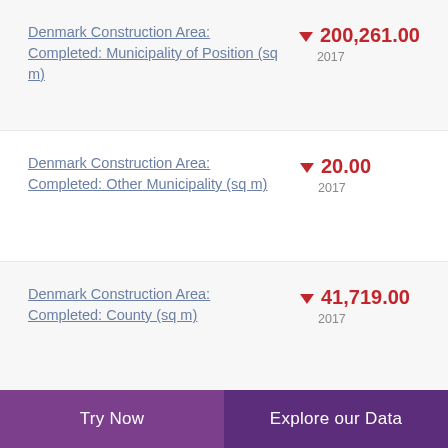Denmark Construction Area: Completed: Municipality of Position (sq m)
Denmark Construction Area: Completed: Other Municipality (sq m)
Denmark Construction Area: Completed: County (sq m)
Denmark Construction Area: Completed: State (sq m)
Try Now  |  Explore our Data